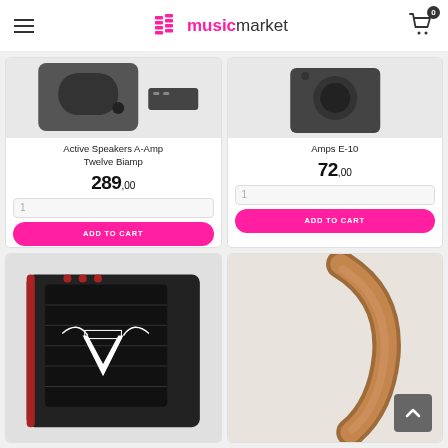musicmarket (hamburger menu, cart with 0 items)
[Figure (screenshot): Product card: Active Speakers A-Amp Twelve Biamp - partial image of speaker at top]
Active Speakers A-Amp Twelve Biamp
289,00
ADD TO CART
[Figure (screenshot): Product card: Amps E-10 - partial image of amp at top]
Amps E-10
72,00
ADD TO CART
[Figure (screenshot): Product card bottom row left: AR amplifier combo]
[Figure (screenshot): Product card bottom row right: wooden item (partial)]